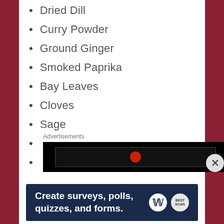Dried Dill
Curry Powder
Ground Ginger
Smoked Paprika
Bay Leaves
Cloves
Sage
Thyme
Vanilla (extract & Bean)
Advertisements
[Figure (screenshot): Black advertisement box with partial YouTube-style video thumbnail]
Advertisements
[Figure (screenshot): Dark blue banner ad: Create surveys, polls, quizzes, and forms. WordPress and survey logos.]